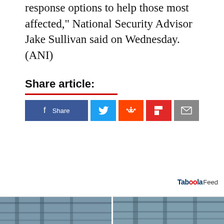response options to help those most affected," National Security Advisor Jake Sullivan said on Wednesday. (ANI)
Share article:
[Figure (other): Social share buttons: Facebook Share, Twitter, Reddit, Flipboard, Email]
[Figure (other): Taboola Feed logo and two partial news images at bottom]
[Figure (photo): Two partial photos of what appear to be infrastructure or construction, shown at the bottom of the page]